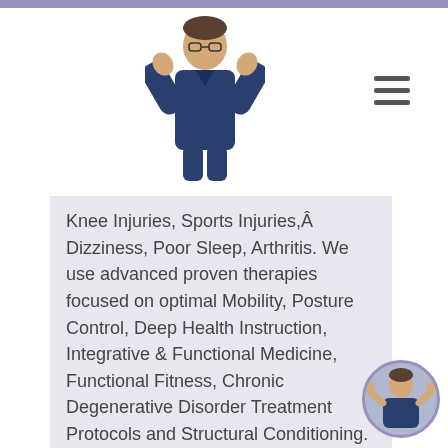[Figure (photo): A person in dark blue scrubs giving two thumbs up, used as a logo/header image for a chiropractic or medical wellness website.]
Knee Injuries, Sports Injuries, Dizziness, Poor Sleep, Arthritis. We use advanced proven therapies focused on optimal Mobility, Posture Control, Deep Health Instruction, Integrative & Functional Medicine, Functional Fitness, Chronic Degenerative Disorder Treatment Protocols and Structural Conditioning. We also integrate Wellness Nutrition, Wellness Detoxification Protocols and Functional Medicine for chronic musculoskeletal disorders. We use effective "Patient Focused Diet Plans", Specialized Chiropractic Techniques, Mobility-Agility Training, Cross-Fit
[Figure (photo): Small circular avatar of the same person in dark blue scrubs giving thumbs up, with a purple/lavender border.]